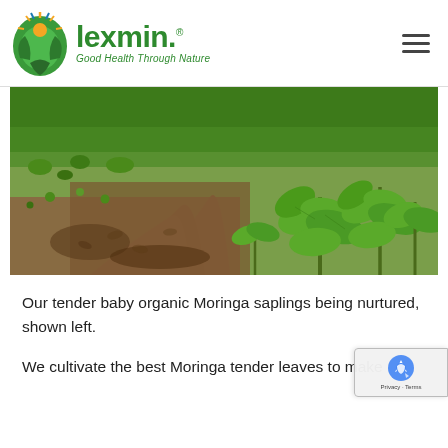[Figure (logo): Lexmin logo: circular emblem with sunrise, wheat/grain, and green leaves motif, next to 'lexmin.' green wordmark and tagline 'Good Health Through Nature']
[Figure (photo): Outdoor photograph of a farm field showing rows of young organic Moringa saplings growing in brown soil, with lush green vegetation and small seedlings visible]
Our tender baby organic Moringa saplings being nurtured, shown left.
We cultivate the best Moringa tender leaves to make